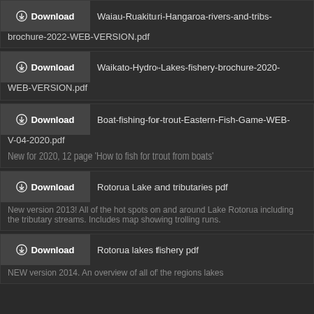Download Waiau-Ruakituri-Hangaroa-rivers-and-tribs-brochure-2022-WEB-VERSION.pdf
Download Waikato-Hydro-Lakes-fishery-brochure-2020-WEB-VERSION.pdf
Download Boat-fishing-for-trout-Eastern-Fish-Game-WEB-V-04-2020.pdf
New for 2020, 12 page 'How to fish for trout from boats'
Download Rotorua Lake and tributaries pdf
New version 2013! All of the hot spots on and around Lake Rotorua including the tributary streams. Includes map showing trolling runs.
Download Rotorua lakes fishery pdf
NEW version 2014. An overview of all of the regions lakes...